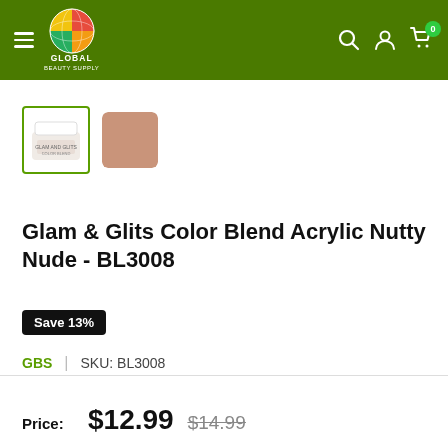Global Beauty Supply - navigation header
[Figure (photo): Two product thumbnails: selected thumbnail showing Glam and Glits jar with green border, and a nude/pink color swatch]
Glam & Glits Color Blend Acrylic Nutty Nude - BL3008
Save 13%
GBS | SKU: BL3008
Price: $12.99  $14.99